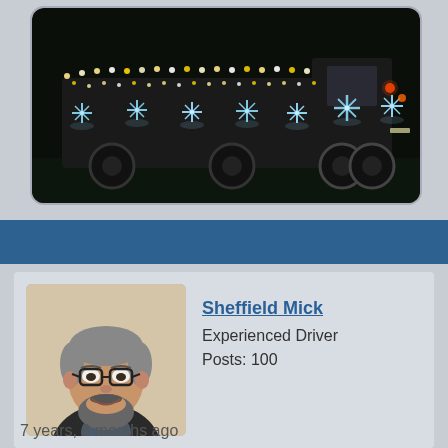[Figure (photo): A truck or vehicle decorated with colourful Christmas lights photographed at night on a dark background. Blue and white snowflake-shaped lights are visible along the side.]
[Figure (photo): Profile photo of Sheffield Mick – a middle-aged man with grey hair, glasses, a beard, smiling, wearing a dark jacket over a checked shirt.]
Sheffield Mick
Experienced Driver
Posts: 100
7 years, 8 months ago